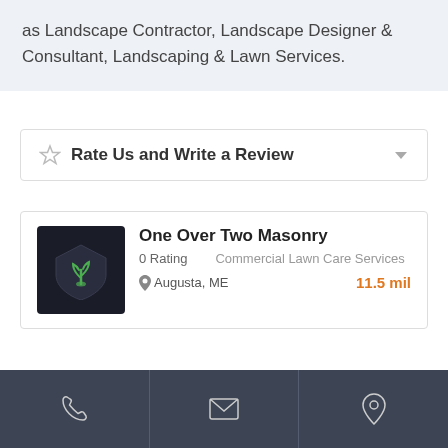as Landscape Contractor, Landscape Designer & Consultant, Landscaping & Lawn Services.
Rate Us and Write a Review
One Over Two Masonry
0 Rating | Commercial Lawn Care Services
Augusta, ME — 11.5 mil